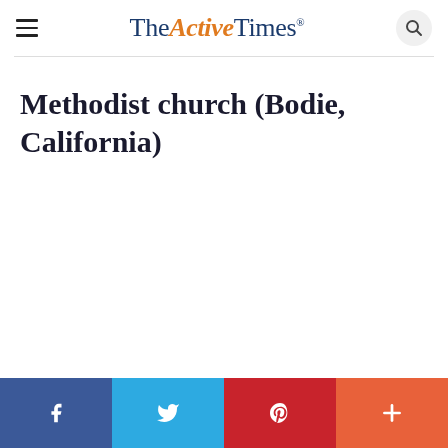The Active Times
Methodist church (Bodie, California)
Social share bar: Facebook, Twitter, Pinterest, More